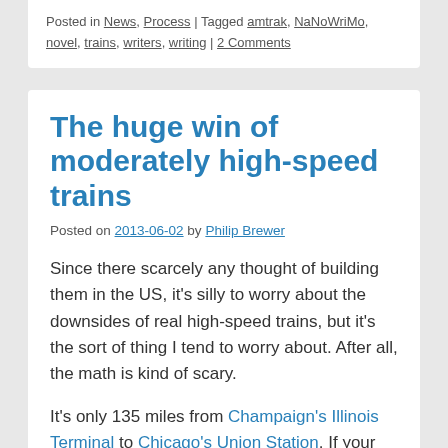Posted in News, Process | Tagged amtrak, NaNoWriMo, novel, trains, writers, writing | 2 Comments
The huge win of moderately high-speed trains
Posted on 2013-06-02 by Philip Brewer
Since there scarcely any thought of building them in the US, it's silly to worry about the downsides of real high-speed trains, but it's the sort of thing I tend to worry about. After all, the math is kind of scary.
It's only 135 miles from Champaign's Illinois Terminal to Chicago's Union Station. If your trains can average 135 mph, you could make the commute in an hour—a